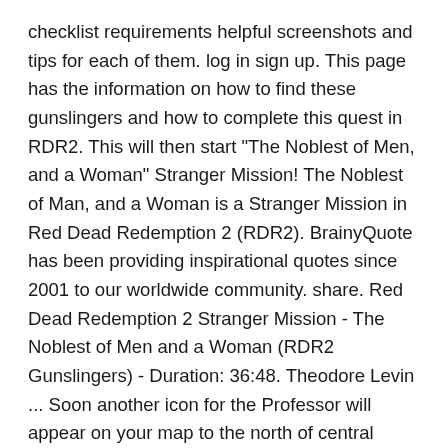checklist requirements helpful screenshots and tips for each of them. log in sign up. This page has the information on how to find these gunslingers and how to complete this quest in RDR2. This will then start "The Noblest of Men, and a Woman" Stranger Mission! The Noblest of Man, and a Woman is a Stranger Mission in Red Dead Redemption 2 (RDR2). BrainyQuote has been providing inspirational quotes since 2001 to our worldwide community. share. Red Dead Redemption 2 Stranger Mission - The Noblest of Men and a Woman (RDR2 Gunslingers) - Duration: 36:48. Theodore Levin ... Soon another icon for the Professor will appear on your map to the north of central Saint Denis. Ἔρως [Eros] : the erotic attraction between lovers. 75% Upvoted. A fisher of fish unlocks legendary fish map. It says "This mission will continue at a later time" but I've waited forever and it hasn't said I can continue, If youre in chapter 2,3,4,5 it wont show up. Close. The Noblest ... She is one of the subjects of the Redemption 2 stranger stranger mission "The Noblest of Men, and a Woman". During this mission, you have to look for certain gunslingers. This